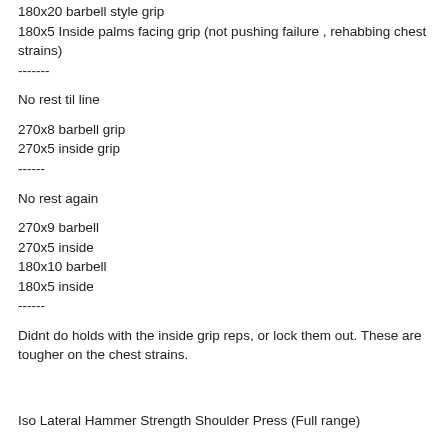180x20 barbell style grip
180x5 Inside palms facing grip (not pushing failure , rehabbing chest strains)
-------
No rest til line
270x8 barbell grip
270x5 inside grip
------
No rest again
270x9 barbell
270x5 inside
180x10 barbell
180x5 inside
------
Didnt do holds with the inside grip reps, or lock them out. These are tougher on the chest strains.
Iso Lateral Hammer Strength Shoulder Press (Full range)
90x40 warm
270x15 warm